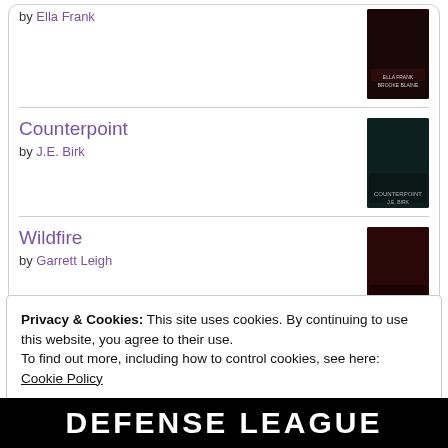by Ella Frank
Counterpoint
by J.E. Birk
Wildfire
by Garrett Leigh
[Figure (logo): goodreads button/logo]
Privacy & Cookies: This site uses cookies. By continuing to use this website, you agree to their use.
To find out more, including how to control cookies, see here:
Cookie Policy
Close and accept
DEFENSE LEAGUE